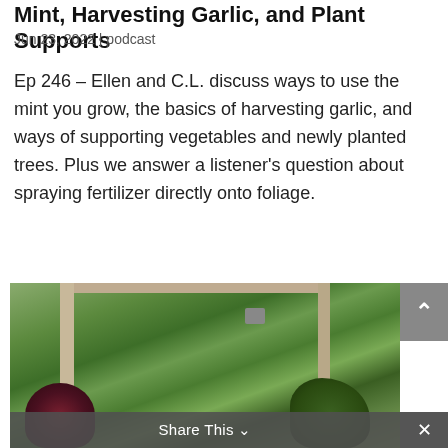Mint, Harvesting Garlic, and Plant Supports
Jun 23, 2022 | podcast
Ep 246 – Ellen and C.L. discuss ways to use the mint you grow, the basics of harvesting garlic, and ways of supporting vegetables and newly planted trees. Plus we answer a listener’s question about spraying fertilizer directly onto foliage.
[Figure (photo): Outdoor garden scene showing a wooden pergola structure with a hanging spider plant, lush green trees in the background, and colorful leafy plants in the foreground including a reddish-purple bromeliad on the left and green foliage on the right.]
Share This ∨